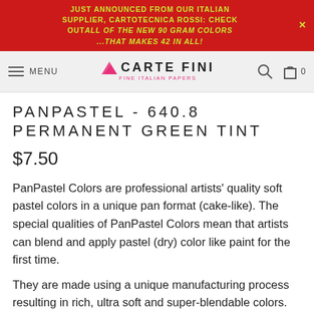JUST ANNOUNCED FROM OUR ITALIAN SUPPLIER, CARTOTECNICA ROSSI: CHECK OUT ALL OF THE NEW 90 GRAM COLORS ...THAT MAKES 42 IN ALL!
[Figure (logo): Carte Fini Fine Italian Papers logo with pink paper stack icon and navigation bar including MENU, search and bag icons]
PANPASTEL - 640.8 PERMANENT GREEN TINT
$7.50
PanPastel Colors are professional artists’ quality soft pastel colors in a unique pan format (cake-like). The special qualities of PanPastel Colors mean that artists can blend and apply pastel (dry) color like paint for the first time.
They are made using a unique manufacturing process resulting in rich, ultra soft and super-blendable colors. Each color is loaded with the finest quality artists’ pigments for the most concentrated colors